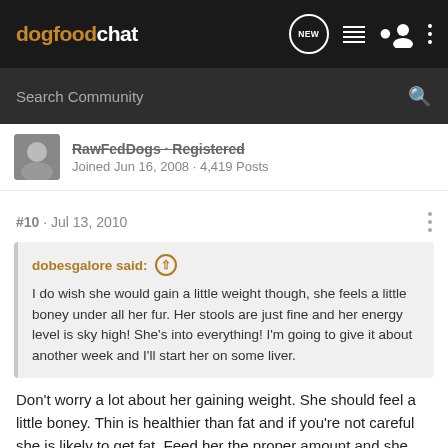dogfoodchat
Search Community
RawFedDogs · Registered
Joined Jun 16, 2008 · 4,419 Posts
#10 · Jul 13, 2010
dobesgalore said:
I do wish she would gain a little weight though, she feels a little boney under all her fur. Her stools are just fine and her energy level is sky high! She's into everything! I'm going to give it about another week and I'll start her on some liver.
Don't worry a lot about her gaining weight. She should feel a little boney. Thin is healthier than fat and if you're not careful she is likely to get fat. Feed her the proper amount and she will develop the right build.